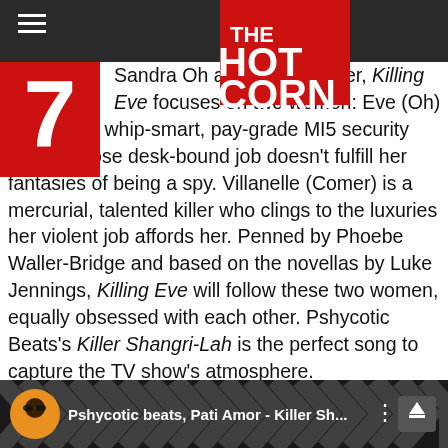THE HOT CORN
Sandra Oh and Jodie Comer, Killing Eve focuses on two women: Eve (Oh) is a bored, whip-smart, pay-grade MI5 security officer whose desk-bound job doesn't fulfill her fantasies of being a spy. Villanelle (Comer) is a mercurial, talented killer who clings to the luxuries her violent job affords her. Penned by Phoebe Waller-Bridge and based on the novellas by Luke Jennings, Killing Eve will follow these two women, equally obsessed with each other. Pshycotic Beats's Killer Shangri-Lah is the perfect song to capture the TV show's atmosphere.
[Figure (screenshot): Media player bar showing 'Pshycotic beats, Pati Amor - Killer Sh...' with circular avatar and up arrow button]